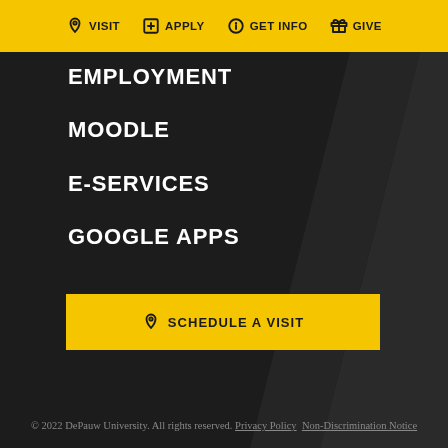VISIT  APPLY  GET INFO  GIVE
EMPLOYMENT
MOODLE
E-SERVICES
GOOGLE APPS
SCHEDULE A VISIT
© 2022 DePauw University. All rights reserved. Privacy Policy  Non-Discrimination Notice